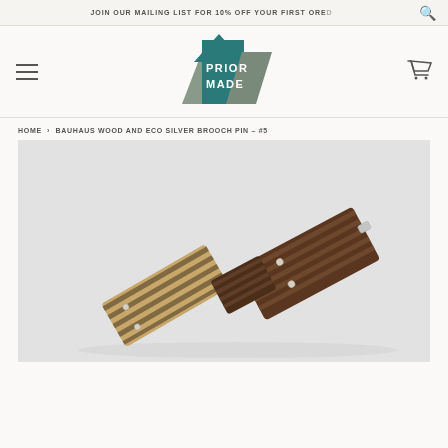JOIN OUR MAILING LIST FOR 10% OFF YOUR FIRST ORDER
[Figure (logo): Prior Made logo — geometric star shape in teal and grey with text PRIOR MADE]
HOME › BAUHAUS WOOD AND ECO SILVER BROOCH PIN – #5
[Figure (photo): Close-up photo of a Bauhaus wood and eco silver brooch pin showing striped wood pieces with silver rivets on a light grey background]